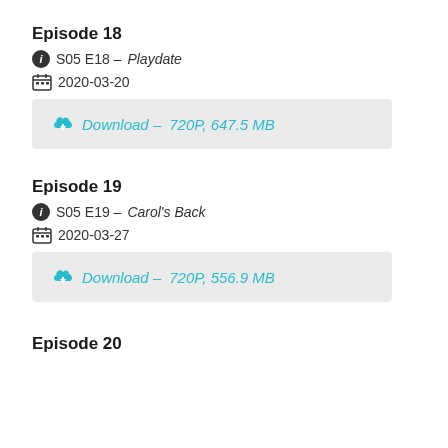Episode 18
S05 E18 - Playdate
2020-03-20
Download – 720P, 647.5 MB
Episode 19
S05 E19 - Carol's Back
2020-03-27
Download – 720P, 556.9 MB
Episode 20